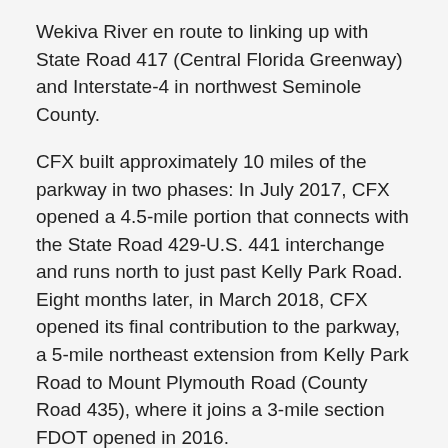Wekiva River en route to linking up with State Road 417 (Central Florida Greenway) and Interstate-4 in northwest Seminole County.
CFX built approximately 10 miles of the parkway in two phases: In July 2017, CFX opened a 4.5-mile portion that connects with the State Road 429-U.S. 441 interchange and runs north to just past Kelly Park Road. Eight months later, in March 2018, CFX opened its final contribution to the parkway, a 5-mile northeast extension from Kelly Park Road to Mount Plymouth Road (County Road 435), where it joins a 3-mile section FDOT opened in 2016.
CFX's work on the Wekiva project includes construction of State Road 453, a tolled spur route that connects with the parkway's interchange at Haas Road-Ondich Road and Plymouth Sorrento Road. From there, the newly designated expressway heads northwest into